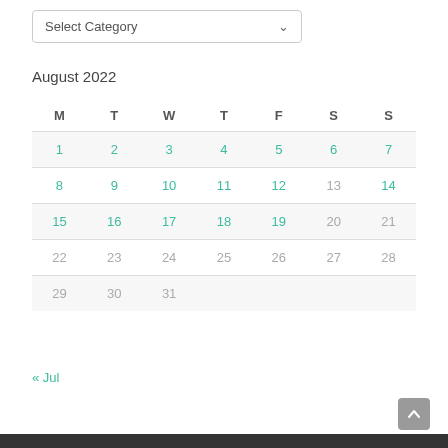[Figure (other): Dropdown selector with label 'Select Category' and a chevron arrow]
August 2022
| M | T | W | T | F | S | S |
| --- | --- | --- | --- | --- | --- | --- |
| 1 | 2 | 3 | 4 | 5 | 6 | 7 |
| 8 | 9 | 10 | 11 | 12 | 13 | 14 |
| 15 | 16 | 17 | 18 | 19 | 20 | 21 |
| 22 | 23 | 24 | 25 | 26 | 27 | 28 |
| 29 | 30 | 31 |  |  |  |  |
« Jul